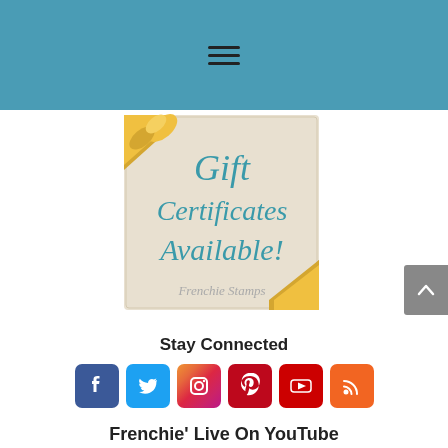hamburger menu icon
[Figure (illustration): Gift certificate promotional image with teal script text reading 'Gift Certificates Available!' on a beige card background with gold ribbon decoration. Frenchie Stamps branding at bottom.]
Stay Connected
[Figure (infographic): Six social media icon buttons in a row: Facebook (blue), Twitter (light blue), Instagram (gradient pink/purple), Pinterest (red), YouTube (red), RSS (orange)]
Frenchie' Live On YouTube